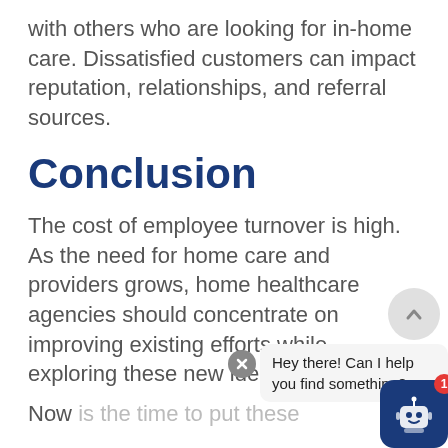with others who are looking for in-home care. Dissatisfied customers can impact reputation, relationships, and referral sources.
Conclusion
The cost of employee turnover is high. As the need for home care and providers grows, home healthcare agencies should concentrate on improving existing efforts while exploring these new ideas
Now is the time to put these
[Figure (screenshot): Chat widget overlay with close button, speech bubble saying 'Hey there! Can I help you find something?', scroll-up button, and robot chatbot icon with red badge showing 1 notification]